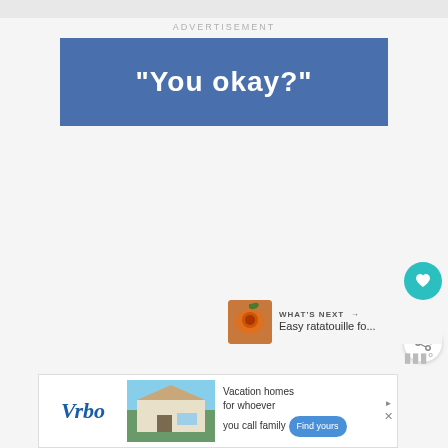ADVERTISEMENT
[Figure (screenshot): Blue banner advertisement with bold white text reading "You okay?"]
[Figure (infographic): Heart/like button (teal circle with heart icon), like count '2', and share button (white circle with share icon)]
WHAT'S NEXT → Easy ratatouille fo...
[Figure (screenshot): Vrbo advertisement banner: 'Vacation homes for whoever you call family' with Find yours button, house photo, Vrbo logo]